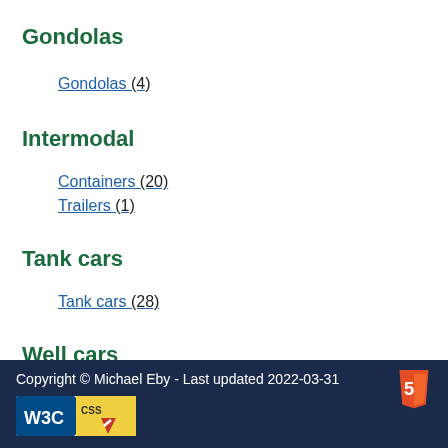Gondolas
Gondolas (4)
Intermodal
Containers (20)
Trailers (1)
Tank cars
Tank cars (28)
Well cars
Well cars (27)
Copyright © Michael Eby - Last updated 2022-03-31